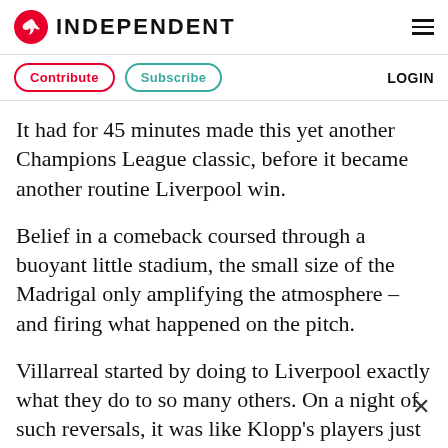INDEPENDENT
Contribute   Subscribe   LOGIN
It had for 45 minutes made this yet another Champions League classic, before it became another routine Liverpool win.
Belief in a comeback coursed through a buoyant little stadium, the small size of the Madrigal only amplifying the atmosphere – and firing what happened on the pitch.
Villarreal started by doing to Liverpool exactly what they do to so many others. On a night of such reversals, it was like Klopp's players just